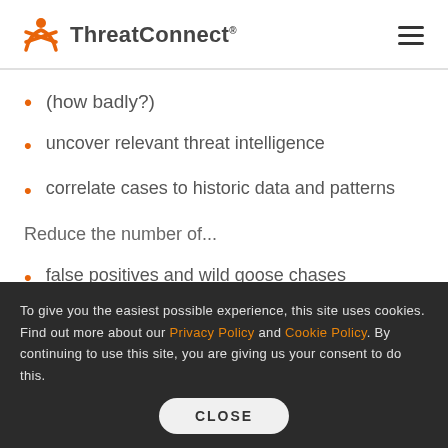ThreatConnect
(how badly?)
uncover relevant threat intelligence
correlate cases to historic data and patterns
Reduce the number of...
false positives and wild goose chases
Reduce the risk and...
missed detections to your organization's defenses
Maximize the amount of...
To give you the easiest possible experience, this site uses cookies. Find out more about our Privacy Policy and Cookie Policy. By continuing to use this site, you are giving us your consent to do this.